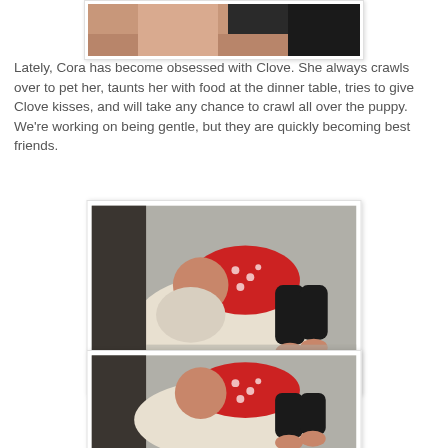[Figure (photo): Partial photo at top of page showing a close-up of a baby and dog, cropped]
Lately, Cora has become obsessed with Clove.  She always crawls over to pet her, taunts her with food at the dinner table, tries to give Clove kisses, and will take any chance to crawl all over the puppy.  We're working on being gentle, but they are quickly becoming best friends.
[Figure (photo): Photo of a baby in a red polka dot outfit laying on top of a white dog on a bed]
[Figure (photo): Second photo of a baby in a red polka dot outfit laying on top of a white dog on a bed, similar to above]